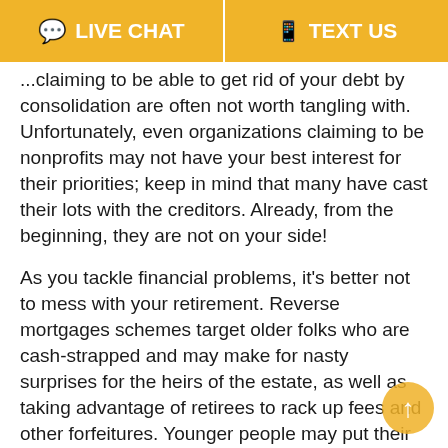LIVE CHAT   TEXT US
...claiming to be able to get rid of your debt by consolidation are often not worth tangling with. Unfortunately, even organizations claiming to be nonprofits may not have your best interest for their priorities; keep in mind that many have cast their lots with the creditors. Already, from the beginning, they are not on your side!
As you tackle financial problems, it's better not to mess with your retirement. Reverse mortgages schemes target older folks who are cash-strapped and may make for nasty surprises for the heirs of the estate, as well as taking advantage of retirees to rack up fees and other forfeitures. Younger people may put their retirements at risk if they opt to address debt problems by dipping into their retirement funds, which are normally protected from bankruptcy proceedings. Dipping into...